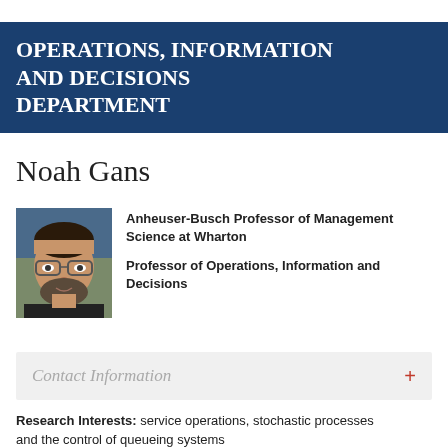OPERATIONS, INFORMATION AND DECISIONS DEPARTMENT
Noah Gans
[Figure (photo): Headshot photo of Noah Gans, a bearded man with glasses wearing a dark shirt]
Anheuser-Busch Professor of Management Science at Wharton
Professor of Operations, Information and Decisions
Contact Information
Research Interests: service operations, stochastic processes and the control of queueing systems